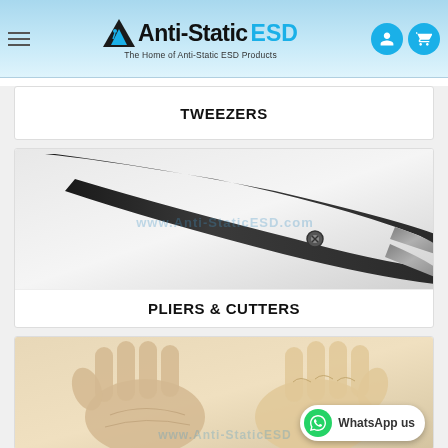[Figure (logo): Anti-Static ESD logo with tagline 'The Home of Anti-Static ESD Products', hamburger menu, user icon, and cart icon on light blue gradient header]
TWEEZERS
[Figure (photo): Close-up photo of ESD pliers/cutters with black handles on white/grey background, with www.Anti-StaticESD.com watermark]
PLIERS & CUTTERS
[Figure (photo): Photo of ESD gloves (beige/skin-colored) showing front and back of glove, with www.Anti-StaticESD watermark and WhatsApp us button overlay]